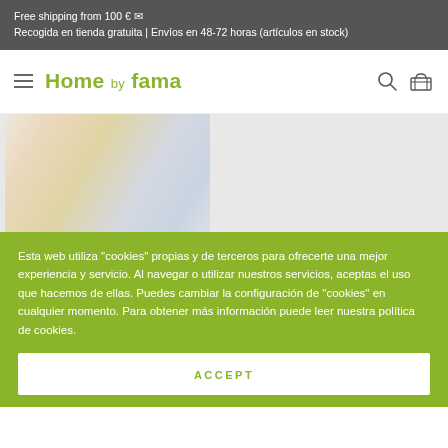Free shipping from 100 € ✉
Recogida en tienda gratuita | Envíos en 48-72 horas (artículos en stock)
[Figure (logo): Home by fama logo with hamburger menu, search icon and basket icon in navigation bar]
[Figure (photo): Partially visible product image, colorful items on a light grey background]
Esta web utiliza "cookies" propias y de terceros para ofrecerte una mejor experiencia y servicio. Al navegar o utilizar nuestros servicios, aceptas el uso que hacemos de ellas. Puedes cambiar la configuración de "cookies" en cualquier momento. Para obtener más información puede leer nuestra política de cookies.
ACCEPT